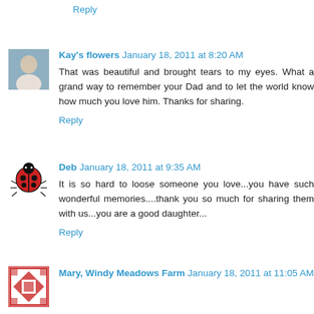Reply
Kay's flowers  January 18, 2011 at 8:20 AM
That was beautiful and brought tears to my eyes. What a grand way to remember your Dad and to let the world know how much you love him. Thanks for sharing.
Reply
Deb  January 18, 2011 at 9:35 AM
It is so hard to loose someone you love...you have such wonderful memories....thank you so much for sharing them with us...you are a good daughter...
Reply
Mary, Windy Meadows Farm  January 18, 2011 at 11:05 AM